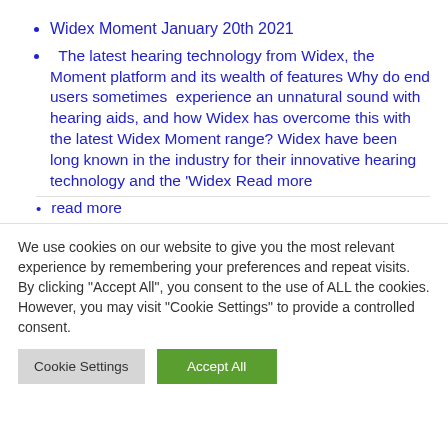Widex Moment January 20th 2021
The latest hearing technology from Widex, the Moment platform and its wealth of features Why do end users sometimes experience an unnatural sound with hearing aids, and how Widex has overcome this with the latest Widex Moment range? Widex have been long known in the industry for their innovative hearing technology and the 'Widex Read more
read more
We use cookies on our website to give you the most relevant experience by remembering your preferences and repeat visits. By clicking "Accept All", you consent to the use of ALL the cookies. However, you may visit "Cookie Settings" to provide a controlled consent.